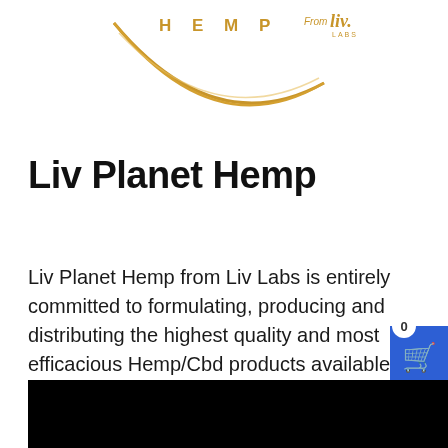[Figure (logo): Liv Planet Hemp logo: golden crescent arc with 'HEMP' lettering in spaced gold capitals, and 'From liv. LABS' text in gold to the right]
Liv Planet Hemp
Liv Planet Hemp from Liv Labs is entirely committed to formulating, producing and distributing the highest quality and most efficacious Hemp/Cbd products available anywhere!
[Figure (screenshot): Blue shopping cart icon with '0' badge in white circle, partially cropped on right edge]
[Figure (photo): Black rectangle at bottom of page, appears to be a video or image placeholder]